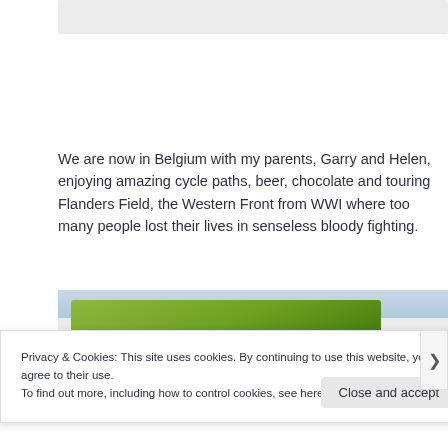[Figure (photo): Top partial image strip showing a light gray background, partially visible photo]
We are now in Belgium with my parents, Garry and Helen, enjoying amazing cycle paths, beer, chocolate and touring Flanders Field, the Western Front from WWI where too many people lost their lives in senseless bloody fighting.
[Figure (photo): Partial photo showing green trees and foliage against a light sky, taken outdoors in Belgium]
Privacy & Cookies: This site uses cookies. By continuing to use this website, you agree to their use.
To find out more, including how to control cookies, see here: Cookie Policy
Close and accept